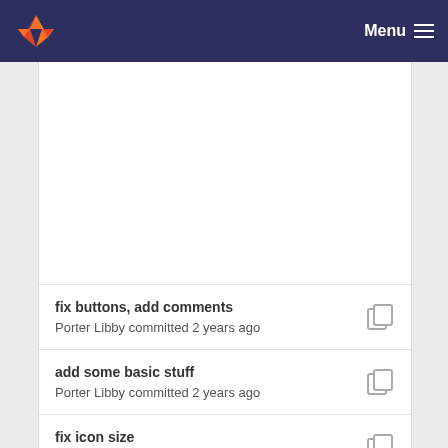Menu
fix buttons, add comments
Porter Libby committed 2 years ago
add some basic stuff
Porter Libby committed 2 years ago
fix icon size
Porter Libby committed 2 years ago